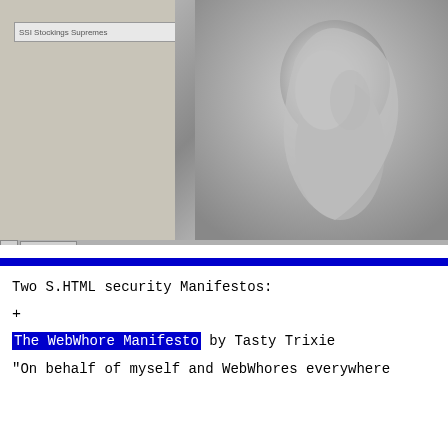[Figure (screenshot): Browser screenshot showing a left gray panel with an address bar reading 'SSI Stockings Supremes' and a right panel showing a black and white photograph of a human body/torso, with a horizontal scrollbar below]
Two S.HTML security Manifestos:
+
The WebWhore Manifesto by Tasty Trixie
"On behalf of myself and WebWhores everywhere